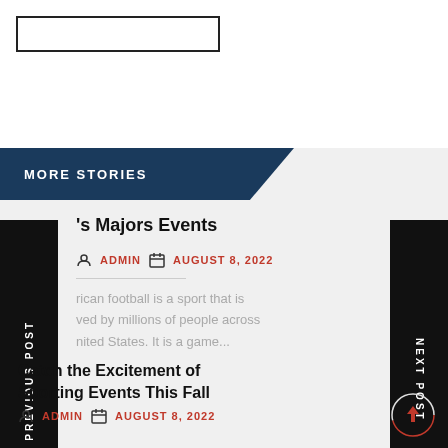[Figure (other): Search input box outline at top left]
MORE STORIES
PREVIOUS POST
NEXT POST
's Majors Events
ADMIN   AUGUST 8, 2022
rican football is a sport that is ved by millions of people across nited States. It is a game...
Catch the Excitement of Sporting Events This Fall
ADMIN   AUGUST 8, 2022